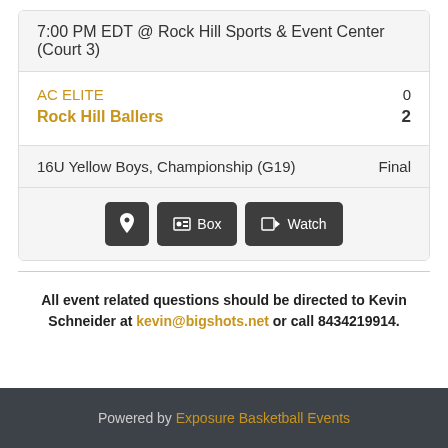7:00 PM EDT @ Rock Hill Sports & Event Center (Court 3)
AC ELITE  0
Rock Hill Ballers  2
16U Yellow Boys, Championship (G19)  Final
[Figure (other): Buttons: location pin icon, Box, Watch]
All event related questions should be directed to Kevin Schneider at kevin@bigshots.net or call 8434219914.
Powered by Exposure Basketball Events